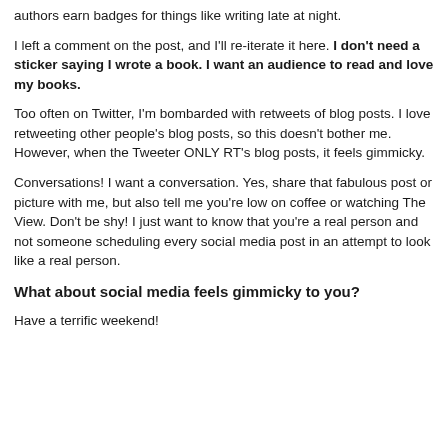authors earn badges for things like writing late at night.
I left a comment on the post, and I'll re-iterate it here. I don't need a sticker saying I wrote a book. I want an audience to read and love my books.
Too often on Twitter, I'm bombarded with retweets of blog posts. I love retweeting other people's blog posts, so this doesn't bother me. However, when the Tweeter ONLY RT's blog posts, it feels gimmicky.
Conversations! I want a conversation. Yes, share that fabulous post or picture with me, but also tell me you're low on coffee or watching The View. Don't be shy! I just want to know that you're a real person and not someone scheduling every social media post in an attempt to look like a real person.
What about social media feels gimmicky to you?
Have a terrific weekend!